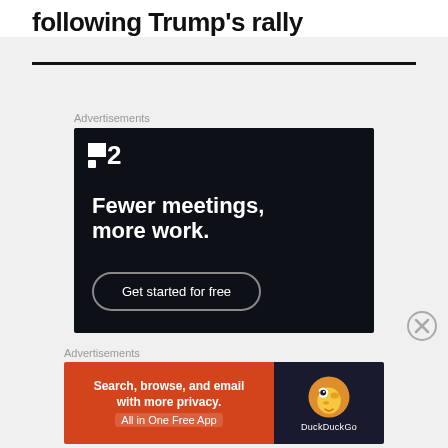following Trump's rally
[Figure (screenshot): Advertisement for a productivity tool (T2/Plan style) with dark navy background showing logo, text 'Fewer meetings, more work.' and a 'Get started for free' button]
[Figure (screenshot): Advertisement for DuckDuckGo app: 'Search, browse, and email with more privacy. All in One Free App' with orange background on left and dark background with DuckDuckGo duck logo on right]